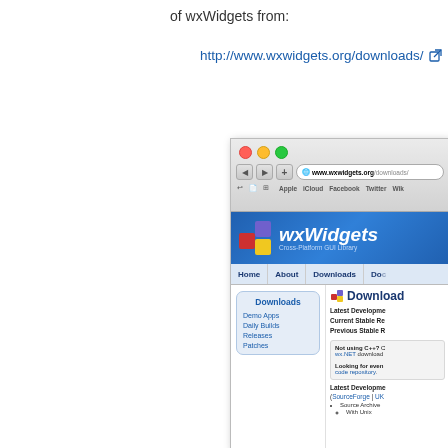of wxWidgets from:
http://www.wxwidgets.org/downloads/
[Figure (screenshot): Screenshot of wxWidgets website downloads page showing browser chrome with address bar, wxWidgets logo, navigation menu (Home, About, Downloads, Doc...), sidebar with Downloads section (Demo Apps, Daily Builds, Releases, Patches), and main content area showing Downloads page with Latest Development, Current Stable Release, Previous Stable Release links, and notices about C++ alternatives and code repository.]